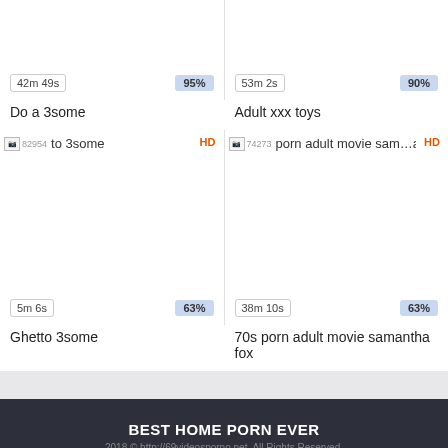[Figure (screenshot): Video thumbnail card: 42m 49s duration, 95% rating, title Do a 3some]
Do a 3some
[Figure (screenshot): Video thumbnail card: 53m 2s duration, 90% rating, title Adult xxx toys]
Adult xxx toys
[Figure (screenshot): Video thumbnail card with HD badge: broken image 82954, 5m 6s duration, 63% rating, title Ghetto 3some]
Ghetto 3some
[Figure (screenshot): Video thumbnail card with HD badge: broken image 74273, 38m 10s duration, 63% rating, title 70s porn adult movie samantha fox]
70s porn adult movie samantha fox
BEST HOME PORN EVER
2018 © http://69videosporno.net. All Rights Reserved.